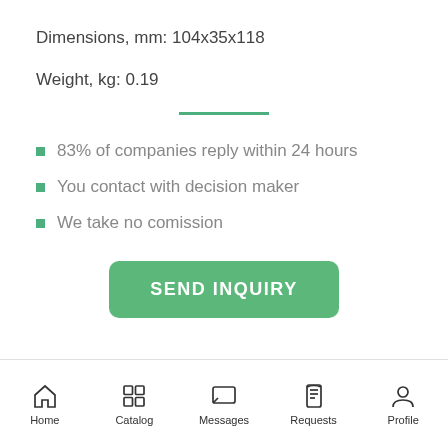Dimensions, mm: 104x35x118
Weight, kg: 0.19
83% of companies reply within 24 hours
You contact with decision maker
We take no comission
SEND INQUIRY
Home  Catalog  Messages  Requests  Profile